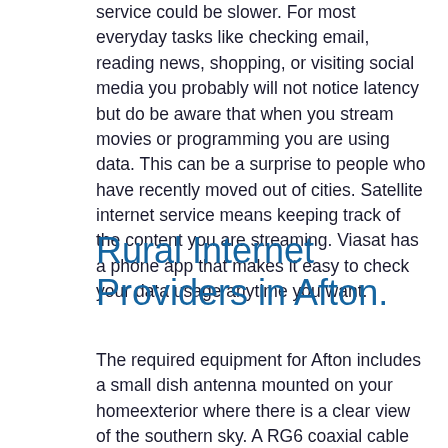service could be slower. For most everyday tasks like checking email, reading news, shopping, or visiting social media you probably will not notice latency but do be aware that when you stream movies or programming you are using data. This can be a surprise to people who have recently moved out of cities. Satellite internet service means keeping track of the content you are streaming. Viasat has a phone app that makes it easy to check your data usage anytime you want.
Rural Internet Providers in Afton.
The required equipment for Afton includes a small dish antenna mounted on your homeexterior where there is a clear view of the southern sky. A RG6 coaxial cable connects the disk and a modem that gets you online. A Wi-Fi router could be built into the modem or could be stand-alone. The router extends your internet signal to